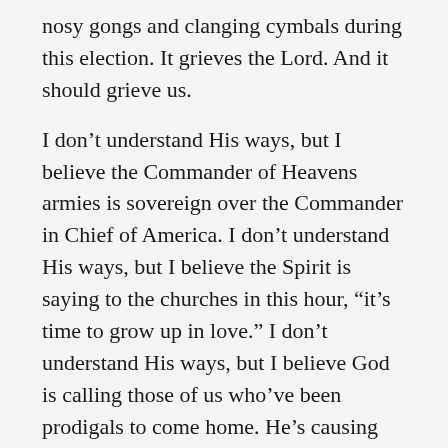nosy gongs and clanging cymbals during this election. It grieves the Lord. And it should grieve us.
I don't understand His ways, but I believe the Commander of Heavens armies is sovereign over the Commander in Chief of America. I don't understand His ways, but I believe the Spirit is saying to the churches in this hour, “it’s time to grow up in love.” I don’t understand His ways, but I believe God is calling those of us who’ve been prodigals to come home. He’s causing those of us who’ve been stuck in the pig muck of society to come to our senses. He is running out to meet those of us who’ve spent our inheritance on the Great Prostitute. He’s putting a ring and a robe on those of us who’ve lived as orphans. He’s welcoming us as sons and daughters back into His house. He’s teaching us how to pray. He’s training us to love, as He first loved us.